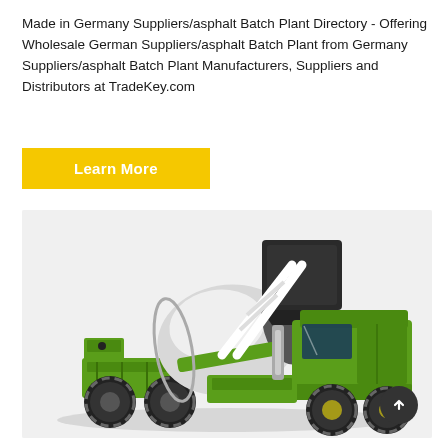Made in Germany Suppliers/asphalt Batch Plant Directory - Offering Wholesale German Suppliers/asphalt Batch Plant from Germany Suppliers/asphalt Batch Plant Manufacturers, Suppliers and Distributors at TradeKey.com
[Figure (other): Yellow 'Learn More' button]
[Figure (photo): A green self-loading concrete mixer truck with a white drum, black hopper on top, and large off-road tires, displayed on a light grey background. A dark circular scroll-to-top button is visible in the bottom-right corner.]